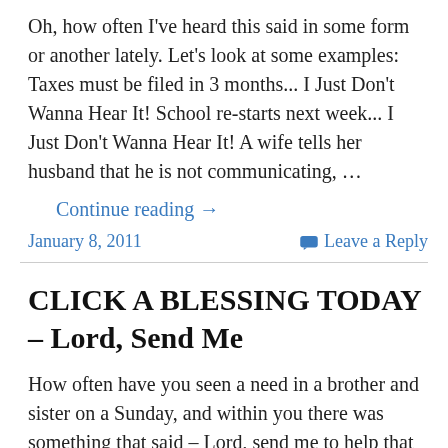Oh, how often I've heard this said in some form or another lately. Let's look at some examples: Taxes must be filed in 3 months... I Just Don't Wanna Hear It! School re-starts next week... I Just Don't Wanna Hear It! A wife tells her husband that he is not communicating, …
Continue reading →
January 8, 2011
Leave a Reply
CLICK A BLESSING TODAY – Lord, Send Me
How often have you seen a need in a brother and sister on a Sunday, and within you there was something that said – Lord, send me to help that brother or sister. Monday came, Tuesday sped by, Wednesday was a wash, Thursday full